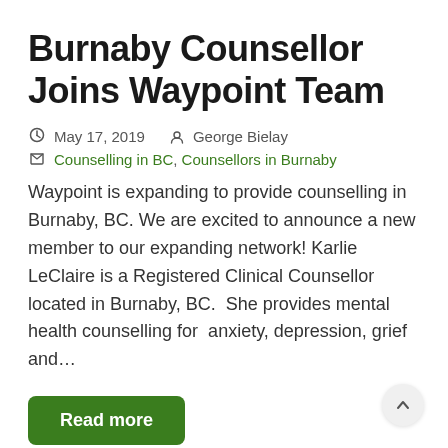Burnaby Counsellor Joins Waypoint Team
May 17, 2019   George Bielay
Counselling in BC, Counsellors in Burnaby
Waypoint is expanding to provide counselling in Burnaby, BC. We are excited to announce a new member to our expanding network! Karlie LeClaire is a Registered Clinical Counsellor located in Burnaby, BC.  She provides mental health counselling for  anxiety, depression, grief and…
Read more